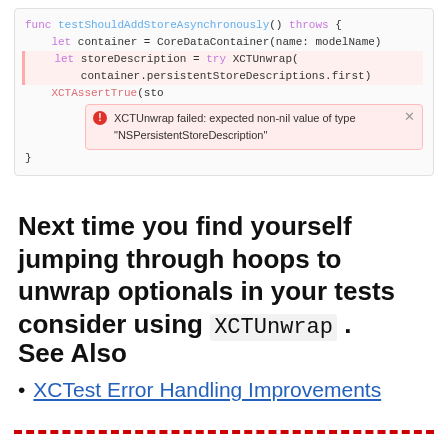[Figure (screenshot): Xcode Swift code editor screenshot showing a test function with an XCTUnwrap error popup: 'XCTUnwrap failed: expected non-nil value of type "NSPersistentStoreDescription"']
Next time you find yourself jumping through hoops to unwrap optionals in your tests consider using XCTUnwrap .
See Also
XCTest Error Handling Improvements